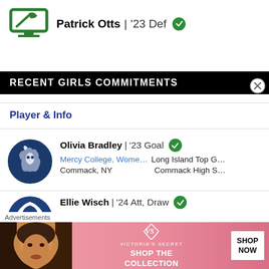Patrick Otts | '23 Def ✓
RECENT GIRLS COMMITMENTS
Player & Info
Olivia Bradley | '23 Goal ✓
Mercy College, Wome... Long Island Top G...
Commack, NY  Commack High S...
Ellie Wisch | '24 Att, Draw ✓
Penn State (PSU), Wo... Phantactix Lacroe...
[Figure (advertisement): Victoria's Secret advertisement with woman, VS logo, 'SHOP THE COLLECTION' text and 'SHOP NOW' button]